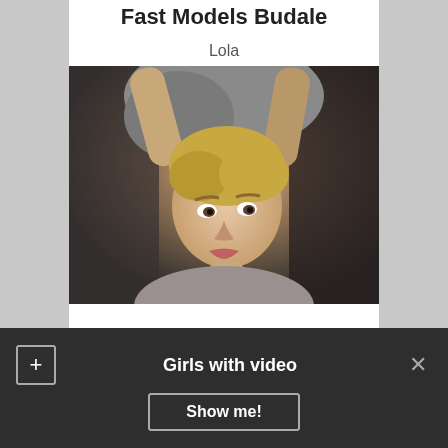Fast Models Budale
Lola
[Figure (photo): Young blonde woman in a grey t-shirt with arms raised, looking at the camera in a posed portrait shot.]
Girls with video  Show me!